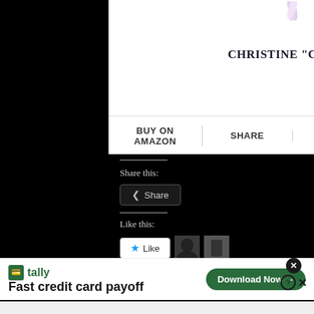CHRISTINE "CLARITY" MC
BUY ON AMAZON | SHARE
Share this:
Share
Like this:
Like
2 bloggers like this.
[Figure (infographic): Tally app advertisement: tally logo, text 'Fast credit card payoff', and green Download Now button with close/help icons]